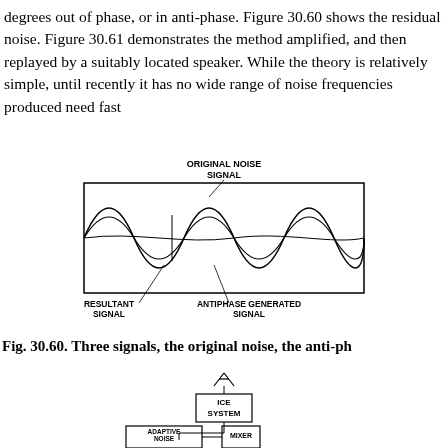degrees out of phase, or in anti-phase. Figure 30.60 shows the residual noise. Figure 30.61 demonstrates the method amplified, and then replayed by a suitably located speaker. While the theory is relatively simple, until recently it has no wide range of noise frequencies produced need fast
[Figure (schematic): Diagram showing three overlapping sinusoidal waves: the original noise signal (larger amplitude), the antiphase generated signal (medium amplitude), and the resultant signal (small amplitude near zero). Labels indicate ORIGINAL NOISE SIGNAL at top, RESULTANT SIGNAL at bottom left, and ANTIPHASE GENERATED SIGNAL at bottom center.]
Fig. 30.60. Three signals, the original noise, the anti-ph
[Figure (flowchart): Block diagram showing ICE SYSTEM at top with antenna, connected to ADAPTIVE NOISE CANCELLATION block and MIXER block.]